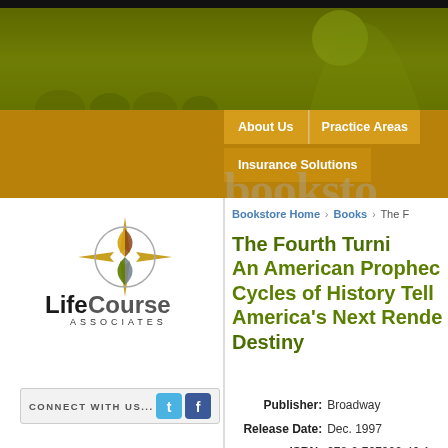[Figure (screenshot): LifeCourse Associates website screenshot showing header banner with olive green background and woman silhouette, navigation bar with About Us, Practice Areas, Insurance Solutions buttons, logo with geometric leaf design, Connect With Us social media bar, and book listing page for The Fourth Turning]
bookstore
Bookstore Home > Books > The F...
The Fourth Turning: An American Prophecy - Cycles of History Tell America's Next Rendezvous with Destiny
Publisher: Broadway
Release Date: Dec. 1997
ISBN: 978-0-767900-46-1